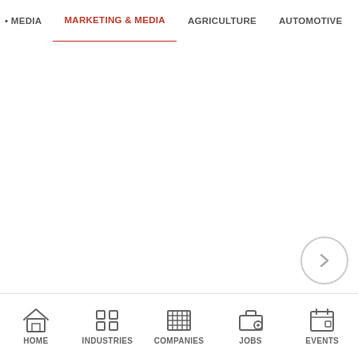MEDIA  MARKETING & MEDIA  AGRICULTURE  AUTOMOTIVE  CONSTRU
HOME  INDUSTRIES  COMPANIES  JOBS  EVENTS